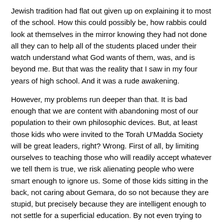Jewish tradition had flat out given up on explaining it to most of the school. How this could possibly be, how rabbis could look at themselves in the mirror knowing they had not done all they can to help all of the students placed under their watch understand what God wants of them, was, and is beyond me. But that was the reality that I saw in my four years of high school. And it was a rude awakening.
However, my problems run deeper than that. It is bad enough that we are content with abandoning most of our population to their own philosophic devices. But, at least those kids who were invited to the Torah U'Madda Society will be great leaders, right? Wrong. First of all, by limiting ourselves to teaching those who will readily accept whatever we tell them is true, we risk alienating people who were smart enough to ignore us. Some of those kids sitting in the back, not caring about Gemara, do so not because they are stupid, but precisely because they are intelligent enough to not settle for a superficial education. By not even trying to reach those kids, we risk losing out on intelligent, original and creative contributions to Jewish thought, not to mention the fact that many educators have no idea how to react to students asking questions they never bothered to think about. I really believe that some of the greatest names in Jewish thought never would have come to our attention if put in our current educational system.